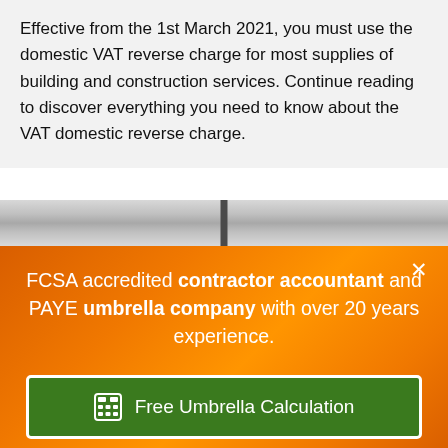Effective from the 1st March 2021, you must use the domestic VAT reverse charge for most supplies of building and construction services. Continue reading to discover everything you need to know about the VAT domestic reverse charge.
[Figure (photo): Partial view of a metallic or reflective surface with a vertical dividing line, appearing as a banner or image strip background]
FCSA accredited contractor accountant and PAYE umbrella company with over 20 years experience.
Free Umbrella Calculation